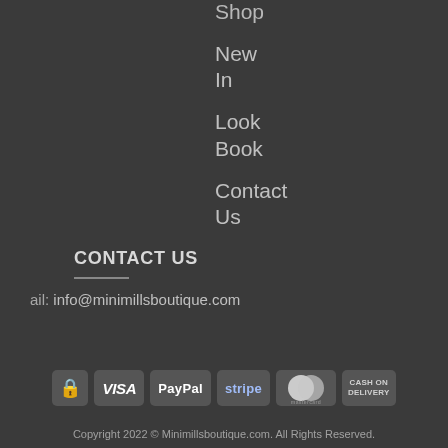Shop
New In
Look Book
Contact Us
CONTACT US
Email: info@minimillsboutique.com
[Figure (logo): Payment method icons: lock icon, VISA, PayPal, stripe, MasterCard, CASH ON DELIVERY]
Copyright 2022 © Minimillsboutique.com. All Rights Reserved.